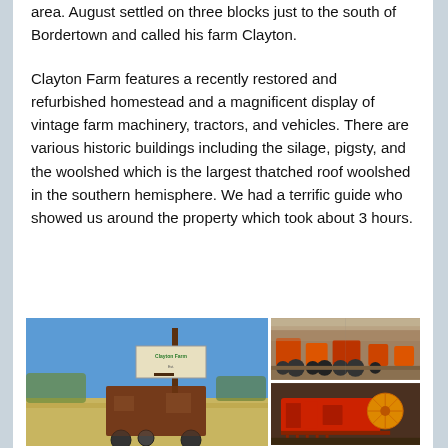area. August settled on three blocks just to the south of Bordertown and called his farm Clayton.
Clayton Farm features a recently restored and refurbished homestead and a magnificent display of vintage farm machinery, tractors, and vehicles. There are various historic buildings including the silage, pigsty, and the woolshed which is the largest thatched roof woolshed in the southern hemisphere. We had a terrific guide who showed us around the property which took about 3 hours.
[Figure (photo): Left photo: An old rusty steam engine or farm machine outdoors in a dry field under blue sky, with a 'Clayton Farm' sign mounted on a tall pole above it.]
[Figure (photo): Top right photo: Interior of a large shed filled with vintage orange/red tractors and farm machinery on display.]
[Figure (photo): Bottom right photo: Close-up of red vintage farm machinery or harvesting equipment inside a shed.]